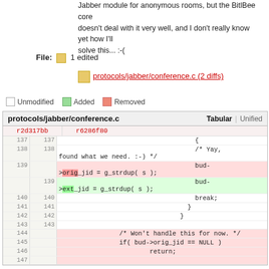Jabber module for anonymous rooms, but the BitlBee core
doesn't deal with it very well, and I don't really know yet how I'll
solve this... :-(
File: 1 edited
protocols/jabber/conference.c (2 diffs)
Unmodified  Added  Removed
| r2d317bb | r6286f80 | code |
| --- | --- | --- |
| 137 | 137 | { |
| 138 | 138 | /* Yay, found what we need. :-) */ |
| 139 |  | bud->orig_jid = g_strdup( s ); |
|  | 139 | bud->ext_jid = g_strdup( s ); |
| 140 | 140 | break; |
| 141 | 141 | } |
| 142 | 142 | } |
| 143 | 143 |  |
| 144 |  | /* Won't handle this for now. */ |
| 145 |  | if( bud->orig_jid == NULL ) |
| 146 |  |     return; |
| 147 |  |  |